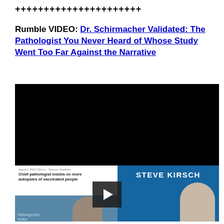++++++++++++++++++++++
Rumble VIDEO: Dr. Schirmacher Validated: The Pathologist You Never Heard of Whose Study Went Too Far Against the Narrative
[Figure (screenshot): Video thumbnail showing a Rumble video player with a black background. Bottom portion shows a two-panel thumbnail: left panel shows a news article headline 'Chief pathologist insists on more autopsies of vaccinated people' with date line and a face visible below, plus text 'Pathologisches Institut'; right panel shows blue background with 'STEVE KIRSCH' text in white bold letters and a partial face visible. A play button overlay is centered between the two panels.]